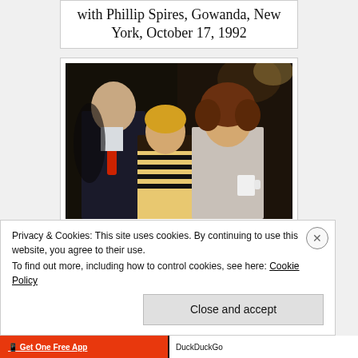with Phillip Spires, Gowanda, New York, October 17, 1992
[Figure (photo): Photograph of three people posing together indoors: an older man in a dark suit with a red tie on the left, a woman with short blonde hair in a patterned black and white outfit in the middle, and a younger woman with curly brown hair on the right holding a cup.]
Michele Babcock with Peter
Privacy & Cookies: This site uses cookies. By continuing to use this website, you agree to their use.
To find out more, including how to control cookies, see here: Cookie Policy
Close and accept